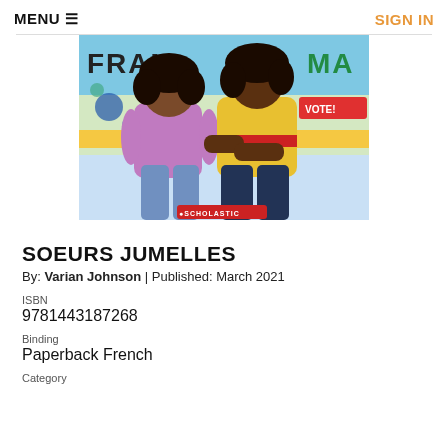MENU ≡   SIGN IN
[Figure (illustration): Book cover illustration of two young girls standing back-to-back in front of a colorful mural. One girl wears a purple shirt and jeans, the other wears a yellow shirt with a red stripe and dark jeans. The Scholastic logo appears at the bottom of the cover. The cover partially shows text 'FRAN' and 'MA' on the mural background.]
SOEURS JUMELLES
By: Varian Johnson | Published: March 2021
ISBN
9781443187268
Binding
Paperback French
Category